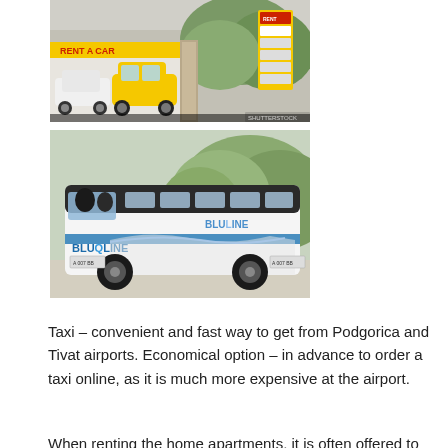[Figure (photo): Photo of a rent-a-car location with a yellow Smart car and a white car parked in front, with a yellow RENT A CAR sign above the entrance.]
[Figure (photo): Photo of a BlueLine coach bus parked outdoors with trees in the background.]
Taxi – convenient and fast way to get from Podgorica and Tivat airports. Economical option – in advance to order a taxi online, as it is much more expensive at the airport.
When renting the home apartments, it is often offered to